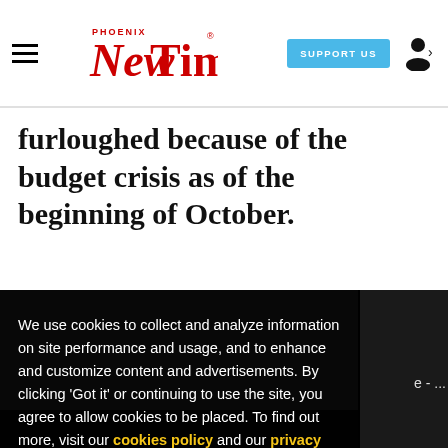Phoenix New Times — SUPPORT US — [user icon]
furloughed because of the budget crisis as of the beginning of October.
We use cookies to collect and analyze information on site performance and usage, and to enhance and customize content and advertisements. By clicking 'Got it' or continuing to use the site, you agree to allow cookies to be placed. To find out more, visit our cookies policy and our privacy policy.
Got it!